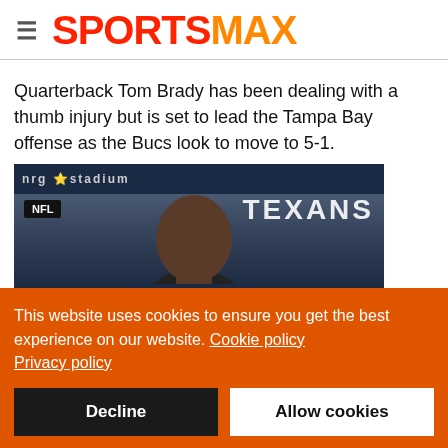SPORTSMAX
Quarterback Tom Brady has been dealing with a thumb injury but is set to lead the Tampa Bay offense as the Bucs look to move to 5-1.
[Figure (photo): Photo of an NFL player at NRG Stadium with a Houston Texans banner visible in the background. An NFL badge is shown in the top-left corner of the image.]
This website uses cookies to ensure you get the best experience on our website. Cookie policy Privacy policy
Decline  Allow cookies